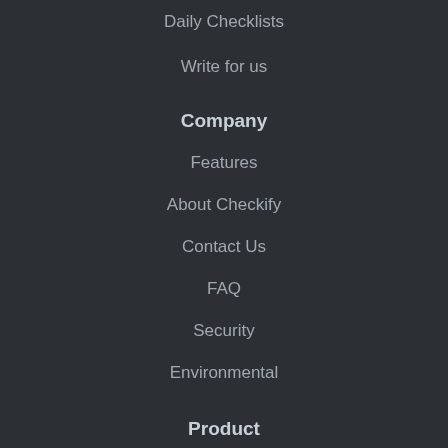Daily Checklists
Write for us
Company
Features
About Checkify
Contact Us
FAQ
Security
Environmental
Product